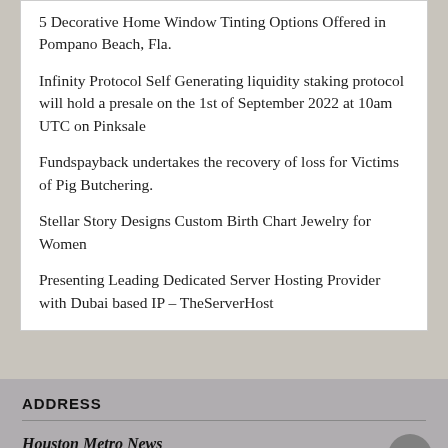5 Decorative Home Window Tinting Options Offered in Pompano Beach, Fla.
Infinity Protocol Self Generating liquidity staking protocol will hold a presale on the 1st of September 2022 at 10am UTC on Pinksale
Fundspayback undertakes the recovery of loss for Victims of Pig Butchering.
Stellar Story Designs Custom Birth Chart Jewelry for Women
Presenting Leading Dedicated Server Hosting Provider with Dubai based IP – TheServerHost
ADDRESS
Houston Metro News
445 E Ohio Street,Unit 2708